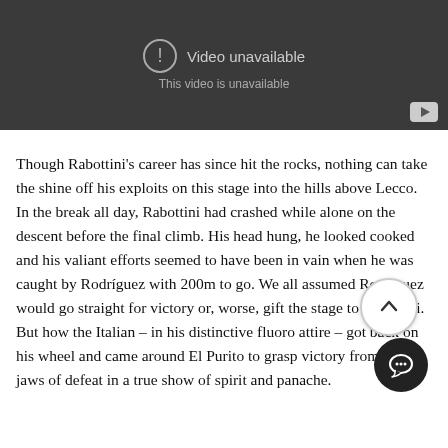[Figure (screenshot): YouTube video player showing 'Video unavailable - This video is unavailable' message with dark gray background and YouTube logo button in bottom right corner.]
Though Rabottini's career has since hit the rocks, nothing can take the shine off his exploits on this stage into the hills above Lecco. In the break all day, Rabottini had crashed while alone on the descent before the final climb. His head hung, he looked cooked and his valiant efforts seemed to have been in vain when he was caught by Rodríguez with 200m to go. We all assumed Rodríguez would go straight for victory or, worse, gift the stage to Rabottini. But how the Italian – in his distinctive fluoro attire – got back on his wheel and came around El Purito to grasp victory from the jaws of defeat in a true show of spirit and panache.